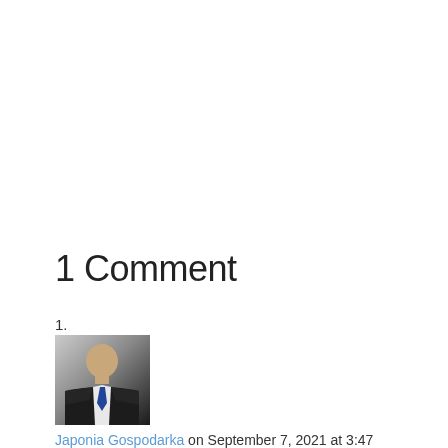1 Comment
1.
[Figure (photo): Profile photo of a man in a dark suit and tie, with a light gray background]
Japonia Gospodarka on September 7, 2021 at 3:47 pm